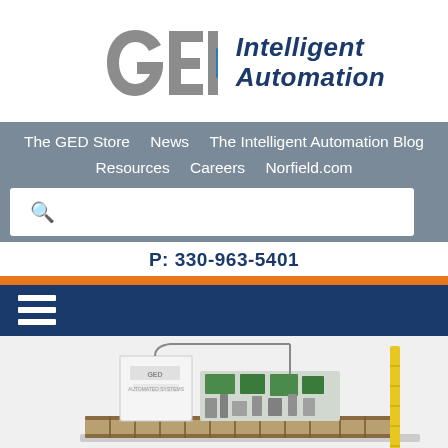[Figure (logo): GED Intelligent Automation company logo with stylized GED letters in grey and a blue triangle arrow, with 'Intelligent Automation' in italic blue text]
The GED Store   News   The Intelligent Automation Blog   Resources   Careers   Norfield.com
P: 330-963-5401
[Figure (photo): Industrial automation machine (GED branded) on a conveyor/track system with various mechanical components, photographed against a white background, with a yellow measuring stick/rod visible on the right side]